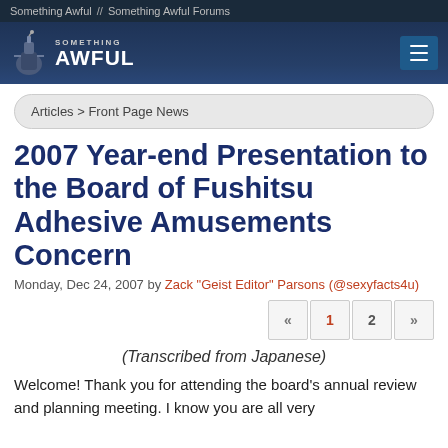Something Awful // Something Awful Forums
[Figure (logo): Something Awful website logo with grenade icon and navigation menu button]
Articles > Front Page News
2007 Year-end Presentation to the Board of Fushitsu Adhesive Amusements Concern
Monday, Dec 24, 2007 by Zack "Geist Editor" Parsons (@sexyfacts4u)
« 1 2 »
(Transcribed from Japanese)
Welcome! Thank you for attending the board's annual review and planning meeting. I know you are all very